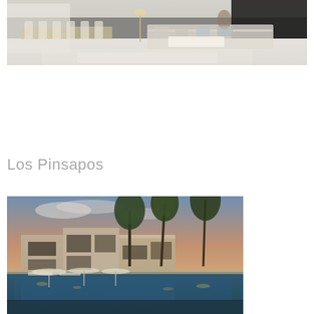[Figure (photo): Luxury interior living and dining room with white marble floors, light-colored furniture, and golden accents]
Los Pinsapos
[Figure (photo): Exterior dusk view of a modern luxury residential complex with pool, palm trees, and warm lighting reflecting in the water]